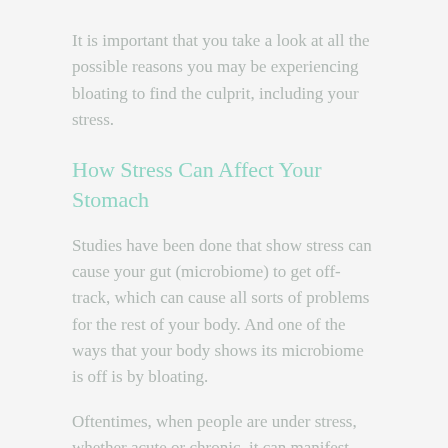It is important that you take a look at all the possible reasons you may be experiencing bloating to find the culprit, including your stress.
How Stress Can Affect Your Stomach
Studies have been done that show stress can cause your gut (microbiome) to get off-track, which can cause all sorts of problems for the rest of your body. And one of the ways that your body shows its microbiome is off is by bloating.
Oftentimes, when people are under stress, whether acute or chronic, it can manifest